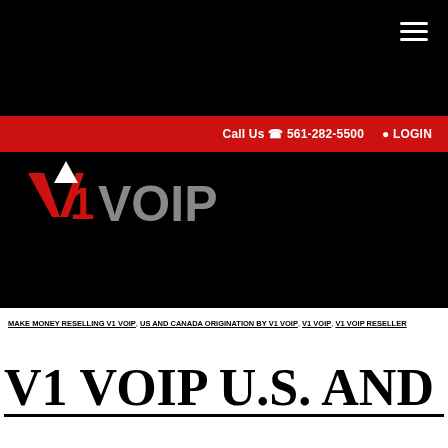[Figure (logo): V1 VOIP logo — 'V1' in red with a white triangular chevron above the '1', 'VOIP' in grey, on black background]
Call Us 561-282-5500  LOGIN
MAKE MONEY RESELLING V1 VOIP, US AND CANADA ORIGINATION BY V1 VOIP, V1 VOIP, V1 VOIP RESELLER
V1 VOIP U.S. AND CANADA